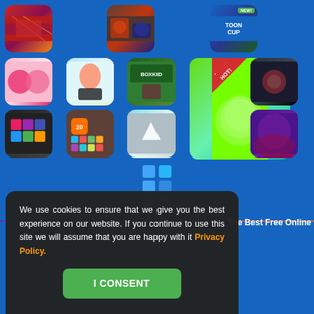[Figure (screenshot): Gaming website screenshot showing a grid of game thumbnails: action games, puzzle games, cartoon network games (Toon Cup), dress-up games, BoxKid, a large HOT! featured game, and more. Below the grid is a cookie consent popup dialog with text about cookies and a green 'I CONSENT' button. The background is dark blue. Bottom right shows 'The Best Free Online' text.]
We use cookies to ensure that we give you the best experience on our website. If you continue to use this site we will assume that you are happy with it Privacy Policy.
I CONSENT
The Best Free Online